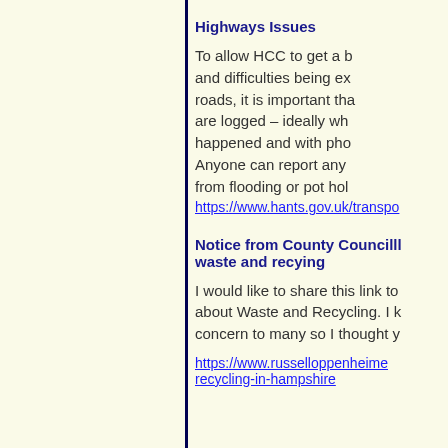Highways Issues
To allow HCC to get a better understanding of the problems and difficulties being experienced on our local roads, it is important that any highways issues are logged – ideally when and where they happened and with photographs where possible. Anyone can report any highway issue from flooding or pot holes at:
https://www.hants.gov.uk/transport
Notice from County Councillor about waste and recying
I would like to share this link to a page I have written about Waste and Recycling. I know this is a concern to many so I thought you should know.
https://www.russelloppenheimer.org.uk/waste-and-recycling-in-hampshire